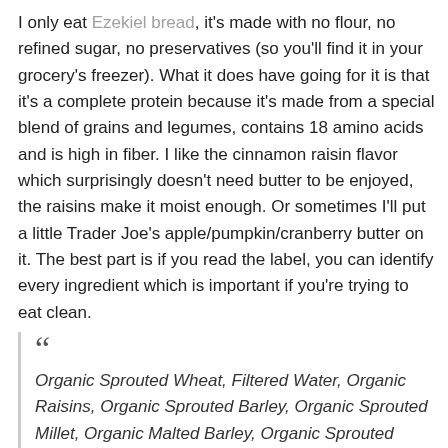I only eat Ezekiel bread, it's made with no flour, no refined sugar, no preservatives (so you'll find it in your grocery's freezer). What it does have going for it is that it's a complete protein because it's made from a special blend of grains and legumes, contains 18 amino acids and is high in fiber. I like the cinnamon raisin flavor which surprisingly doesn't need butter to be enjoyed, the raisins make it moist enough. Or sometimes I'll put a little Trader Joe's apple/pumpkin/cranberry butter on it. The best part is if you read the label, you can identify every ingredient which is important if you're trying to eat clean.
Organic Sprouted Wheat, Filtered Water, Organic Raisins, Organic Sprouted Barley, Organic Sprouted Millet, Organic Malted Barley, Organic Sprouted